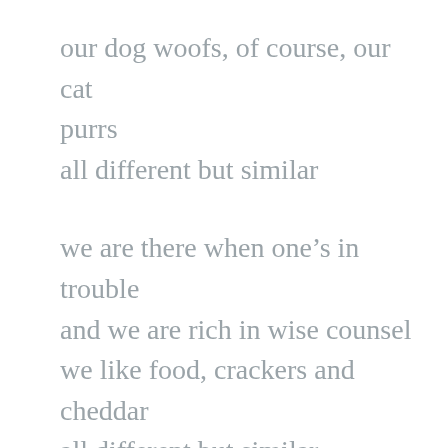our dog woofs, of course, our cat purrs
all different but similar
we are there when one’s in trouble
and we are rich in wise counsel
we like food, crackers and cheddar
all different but similar